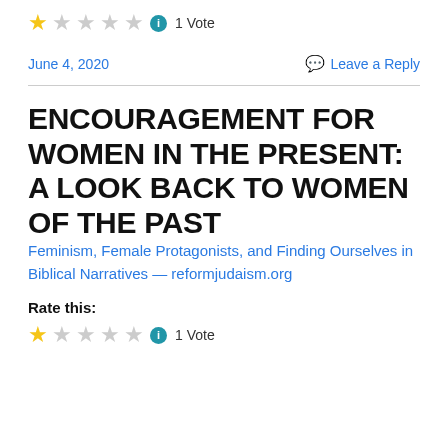[Figure (other): Star rating widget showing 1 filled star out of 5, info icon, and '1 Vote' text]
June 4, 2020    Leave a Reply
ENCOURAGEMENT FOR WOMEN IN THE PRESENT: A LOOK BACK TO WOMEN OF THE PAST
Feminism, Female Protagonists, and Finding Ourselves in Biblical Narratives — reformjudaism.org
Rate this:
[Figure (other): Star rating widget showing 1 filled star out of 5, info icon, and '1 Vote' text]